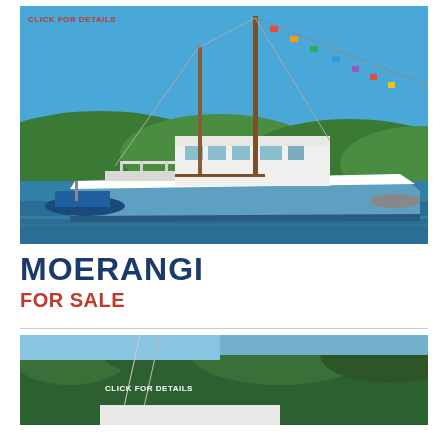[Figure (photo): Photograph of a classic blue and white motor vessel named Moerangi on calm water with colorful signal flags on mast, green hills in background. Text overlay reads CLICK FOR DETAILS in red.]
MOERANGI
FOR SALE
[Figure (photo): Partial photograph of another boat listing with trees in background. Text overlay reads CLICK FOR DETAILS in white.]